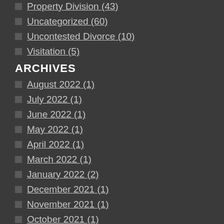Property Division (43)
Uncategorized (60)
Uncontested Divorce (10)
Visitation (5)
ARCHIVES
August 2022 (1)
July 2022 (1)
June 2022 (1)
May 2022 (1)
April 2022 (1)
March 2022 (1)
January 2022 (2)
December 2021 (1)
November 2021 (1)
October 2021 (1)
September 2021 (1)
August 2021 (1)
June 2021 (2)
May 2021 (1)